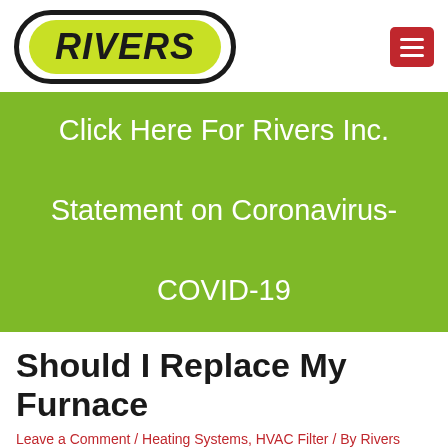[Figure (logo): Rivers Inc. company logo — yellow pill-shaped badge with black bold italic text 'RIVERS' inside a black oval border]
Click Here For Rivers Inc. Statement on Coronavirus-COVID-19
Should I Replace My Furnace
Leave a Comment / Heating Systems, HVAC Filter / By Rivers Plumbing, Heating & Air
You should be able to rely on your home's heating system to keep